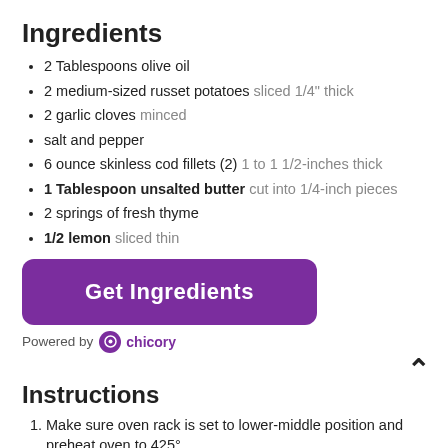Ingredients
2 Tablespoons olive oil
2 medium-sized russet potatoes sliced 1/4" thick
2 garlic cloves minced
salt and pepper
6 ounce skinless cod fillets (2) 1 to 1 1/2-inches thick
1 Tablespoon unsalted butter cut into 1/4-inch pieces
2 springs of fresh thyme
1/2 lemon sliced thin
[Figure (other): Purple 'Get Ingredients' button]
Powered by chicory
Instructions
Make sure oven rack is set to lower-middle position and preheat oven to 425°.
Prepare a 13 by 9-inch baking sheet with non-stick aluminum foil.
After slicing potatoes, toss them with 1 - 2 tablespoons of your favorite olive oil and the minced garlic.